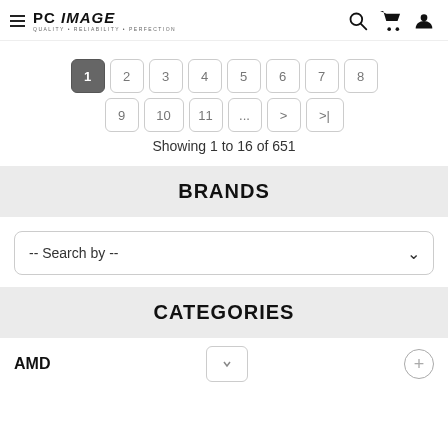PC IMAGE - Quality | Reliability | Perfection
Showing 1 to 16 of 651
BRANDS
-- Search by --
CATEGORIES
AMD